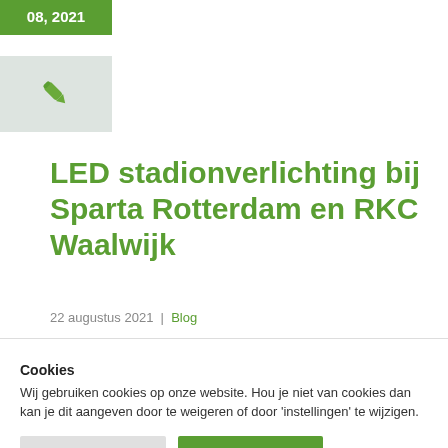08, 2021
[Figure (illustration): Pen/pencil icon in green on light grey background]
LED stadionverlichting bij Sparta Rotterdam en RKC Waalwijk
22 augustus 2021 | Blog
Cookies
Wij gebruiken cookies op onze website. Hou je niet van cookies dan kan je dit aangeven door te weigeren of door 'instellingen' te wijzigen.
Cookie Instellingen | Alles Accepteren